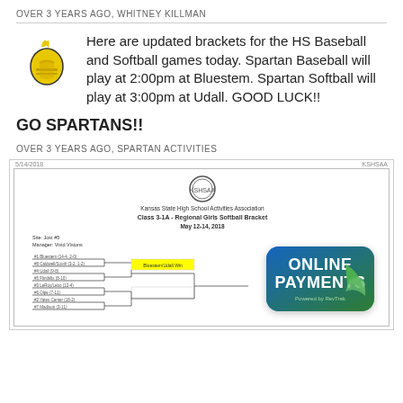OVER 3 YEARS AGO, WHITNEY KILLMAN
Here are updated brackets for the HS Baseball and Softball games today. Spartan Baseball will play at 2:00pm at Bluestem. Spartan Softball will play at 3:00pm at Udall. GOOD LUCK!! GO SPARTANS!!
OVER 3 YEARS AGO, SPARTAN ACTIVITIES
[Figure (other): Kansas State High School Activities Association Class 3-1A Regional Girls Softball Bracket May 12-14, 2018 tournament bracket diagram]
[Figure (logo): Online Payments powered by RevTrak badge - blue and green rounded rectangle logo]